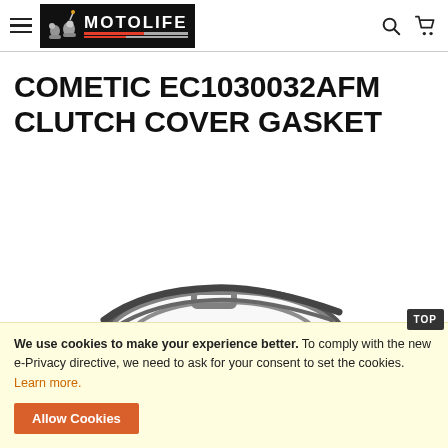[Figure (logo): Motolife logo — black background with illustrated motorcycle figures and bold MOTOLIFE brand text with red/grey stripes]
COMETIC EC1030032AFM CLUTCH COVER GASKET
[Figure (photo): Partial view of a clutch cover gasket product in grey/dark color at bottom of page]
We use cookies to make your experience better. To comply with the new e-Privacy directive, we need to ask for your consent to set the cookies. Learn more.
Allow Cookies